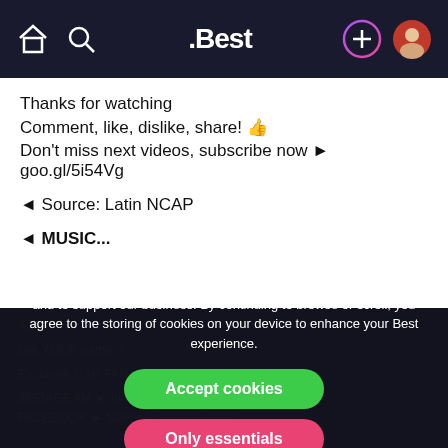.Best navigation bar with home, search, logo, add, and profile icons
Thanks for watching
Comment, like, dislike, share! 👍
Don't miss next videos, subscribe now ► goo.gl/5i54Vg

◄ Source: Latin NCAP

◄ MUSIC...
Best and its partners use cookies to provide you with a better service and to support our business. By continuing to browse or scroll, you agree to the storing of cookies on your device to enhance your Best experience.
Accept cookies
Only essentials
Learn more about our privacy policy.